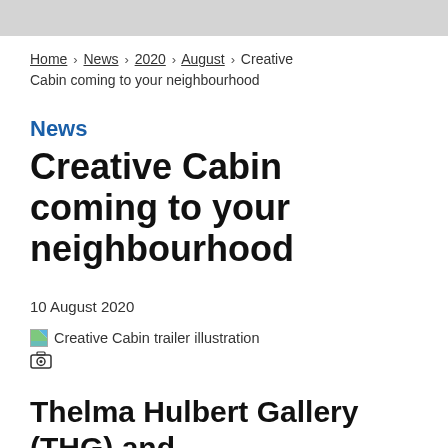Home > News > 2020 > August > Creative Cabin coming to your neighbourhood
News
Creative Cabin coming to your neighbourhood
10 August 2020
[Figure (illustration): Creative Cabin trailer illustration with broken image icon]
Thelma Hulbert Gallery (THG) and